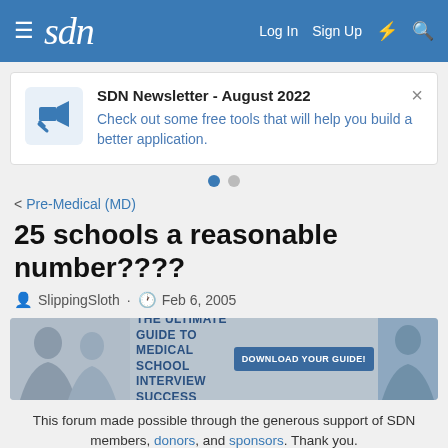sdn | Log In | Sign Up
SDN Newsletter - August 2022
Check out some free tools that will help you build a better application.
< Pre-Medical (MD)
25 schools a reasonable number????
SlippingSloth · Feb 6, 2005
[Figure (infographic): Advertisement banner: THE ULTIMATE GUIDE TO MEDICAL SCHOOL INTERVIEW SUCCESS - DOWNLOAD YOUR GUIDE!]
This forum made possible through the generous support of SDN members, donors, and sponsors. Thank you.
SlippingSloth
Senior Member  15+ Year Member